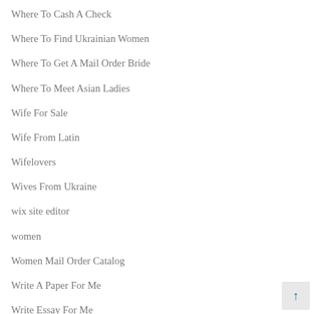Where To Cash A Check
Where To Find Ukrainian Women
Where To Get A Mail Order Bride
Where To Meet Asian Ladies
Wife For Sale
Wife From Latin
Wifelovers
Wives From Ukraine
wix site editor
women
Women Mail Order Catalog
Write A Paper For Me
Write Essay For Me
Write My Essay